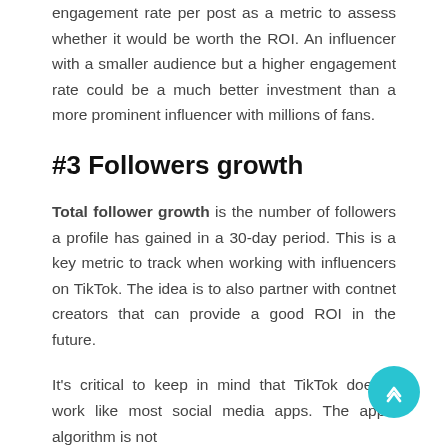engagement rate per post as a metric to assess whether it would be worth the ROI. An influencer with a smaller audience but a higher engagement rate could be a much better investment than a more prominent influencer with millions of fans.
#3 Followers growth
Total follower growth is the number of followers a profile has gained in a 30-day period. This is a key metric to track when working with influencers on TikTok. The idea is to also partner with contnet creators that can provide a good ROI in the future.
It's critical to keep in mind that TikTok doesn't work like most social media apps. The app's algorithm is not